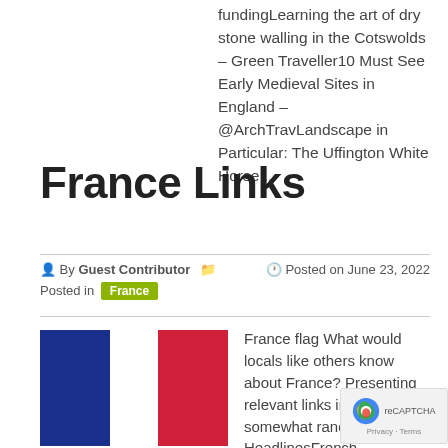fundingLearning the art of dry stone walling in the Cotswolds – Green Traveller10 Must See Early Medieval Sites in England – @ArchTravLandscape in Particular: The Uffington White Horse ...
France Links
By Guest Contributor  Posted on June 23, 2022 Posted in France
[Figure (illustration): France flag showing blue and red vertical stripes (white stripe implied in middle)]
France flag What would locals like others know about France? Presenting relevant links in a somewhat random fashion: HeadlinesFrench...